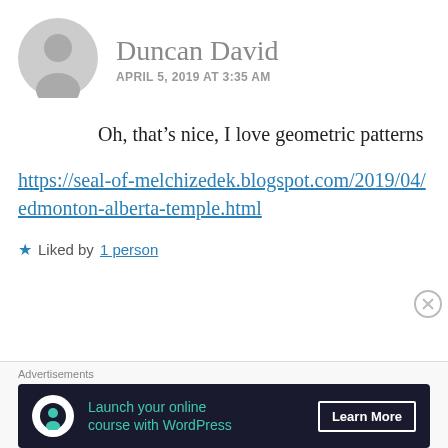Duncan David
APRIL 5, 2019 AT 3:35 AM
Oh, that’s nice, I love geometric patterns
https://seal-of-melchizedek.blogspot.com/2019/04/edmonton-alberta-temple.html
★ Liked by 1 person
Advertisements
Launch your online course with WordPress   Learn More